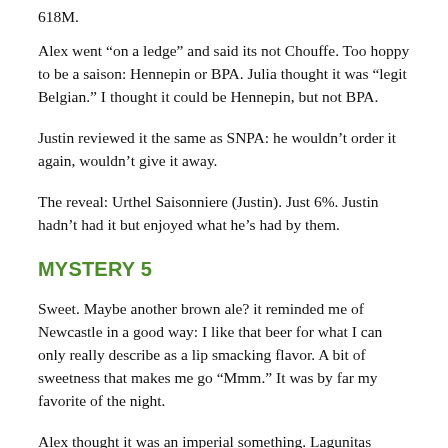618M.
Alex went “on a ledge” and said its not Chouffe. Too hoppy to be a saison: Hennepin or BPA. Julia thought it was “legit Belgian.” I thought it could be Hennepin, but not BPA.
Justin reviewed it the same as SNPA: he wouldn’t order it again, wouldn’t give it away.
The reveal: Urthel Saisonniere (Justin). Just 6%. Justin hadn’t had it but enjoyed what he’s had by them.
MYSTERY 5
Sweet. Maybe another brown ale? it reminded me of Newcastle in a good way: I like that beer for what I can only really describe as a lip smacking flavor. A bit of sweetness that makes me go “Mmm.” It was by far my favorite of the night.
Alex thought it was an imperial something. Lagunitas Maximus? Big palate, washes over everything. Possibly a well balanced barleywine.